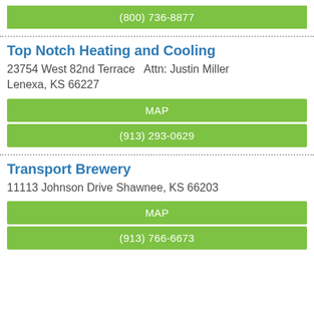(800) 736-8877
Top Notch Heating and Cooling
23754 West 82nd Terrace  Attn: Justin Miller
Lenexa, KS 66227
MAP
(913) 293-0629
Transport Brewery
11113 Johnson Drive Shawnee, KS 66203
MAP
(913) 766-6673